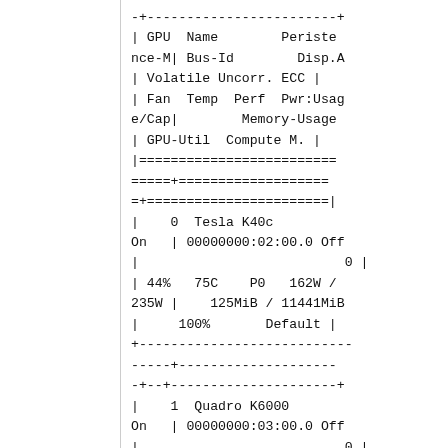-+------------------------+
| GPU  Name        Persistence-M| Bus-Id        Disp.A
| Volatile Uncorr. ECC |
| Fan  Temp  Perf  Pwr:Usage/Cap|        Memory-Usage
| GPU-Util  Compute M. |
|==========================
=====+===================
=+=======================|
|    0  Tesla K40c
On   | 00000000:02:00.0 Off
|                          0 |
| 44%   75C    P0   162W /
235W |    125MiB / 11441MiB
|     100%       Default |
+---------------------------
-----+--------------------
-+---+--------------------+
|    1  Quadro K6000
On   | 00000000:03:00.0 Off
|                          0 |
| 34%   61C    P0    79W /
225W |   210MiB / 11434MiB